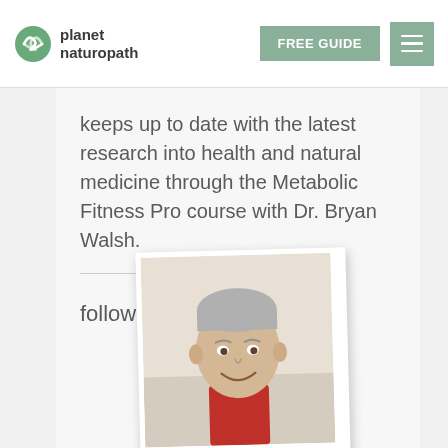planet naturopath | FREE GUIDE | menu
keeps up to date with the latest research into health and natural medicine through the Metabolic Fitness Pro course with Dr. Bryan Walsh.
follow me on:
[Figure (photo): Portrait photo of a middle-aged man with grey hair, smiling, wearing a red shirt, displayed as a slightly tilted polaroid-style photo]